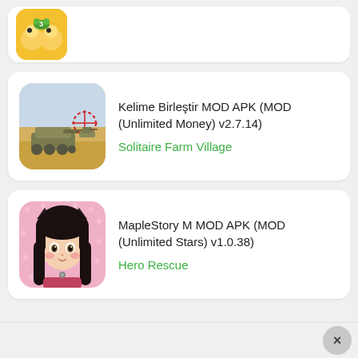[Figure (screenshot): Partial top card showing a game icon (yellow/orange frog-like character) cropped at top]
Kelime Birleştir MOD APK (MOD (Unlimited Money) v2.7.14)
Solitaire Farm Village
[Figure (screenshot): Tank game app icon showing a military tank in a desert landscape]
MapleStory M MOD APK (MOD (Unlimited Stars) v1.0.38)
Hero Rescue
[Figure (screenshot): MapleStory M app icon showing an anime girl with cat ears on pink background]
[Figure (screenshot): Close button (X) in bottom right corner]